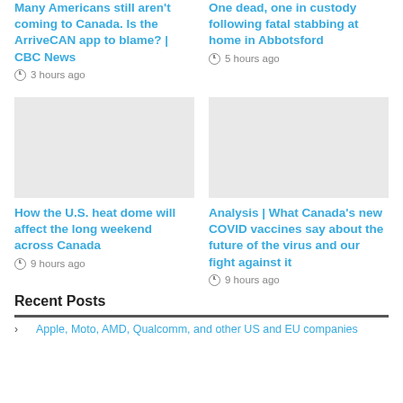Many Americans still aren't coming to Canada. Is the ArriveCAN app to blame? | CBC News
3 hours ago
One dead, one in custody following fatal stabbing at home in Abbotsford
5 hours ago
[Figure (photo): Gray placeholder image for news article about U.S. heat dome]
[Figure (photo): Gray placeholder image for news article about COVID vaccines]
How the U.S. heat dome will affect the long weekend across Canada
9 hours ago
Analysis | What Canada's new COVID vaccines say about the future of the virus and our fight against it
9 hours ago
Recent Posts
Apple, Moto, AMD, Qualcomm, and other US and EU companies